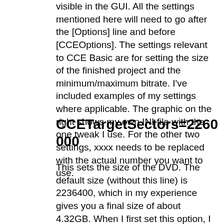visible in the GUI. All the settings mentioned here will need to go after the [Options] line and before [CCEOptions]. The settings relevant to CCE Basic are for setting the size of the finished project and the minimum/maximum bitrate. I've included examples of my settings where applicable. The graphic on the right shows my own INI file with the one tweak I use. For the other two settings, xxxx needs to be replaced with the actual number you want to use.
CCETargetSectors=2260000
This sets the size of the DVD. The default size (without this line) is 2236400, which in my experience gives you a final size of about 4.32GB. When I first set this option, I used 2265000 instead of 2260000 and it worked fine, except that it eventually gave me a DVD that was 14MB too big for a blank. Since lowering it by 5000 I've never had this problem (most movies end up within 30MB of a full disk), although